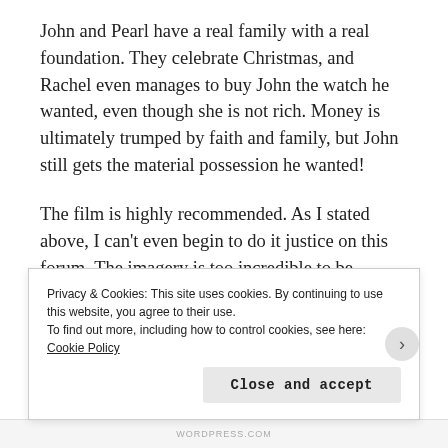John and Pearl have a real family with a real foundation. They celebrate Christmas, and Rachel even manages to buy John the watch he wanted, even though she is not rich. Money is ultimately trumped by faith and family, but John still gets the material possession he wanted!
The film is highly recommended. As I stated above, I can't even begin to do it justice on this forum. The imagery is too incredible to be captured in stills (it makes use of expressionist techniques that make the whole film exist in this dreamy yet realistic fairy tale yet world), and there are too many sequences
Privacy & Cookies: This site uses cookies. By continuing to use this website, you agree to their use.
To find out more, including how to control cookies, see here: Cookie Policy
Close and accept